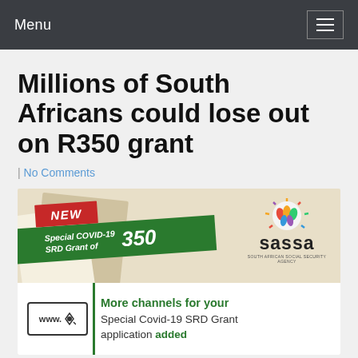Menu
Millions of South Africans could lose out on R350 grant
| No Comments
[Figure (infographic): SASSA Special COVID-19 SRD Grant of 350 promotional infographic with NEW label in red, green banner reading 'Special COVID-19 SRD Grant of 350', SASSA logo top right, and bottom section showing 'More channels for your Special Covid-19 SRD Grant application added' with www badge and cursor icon.]